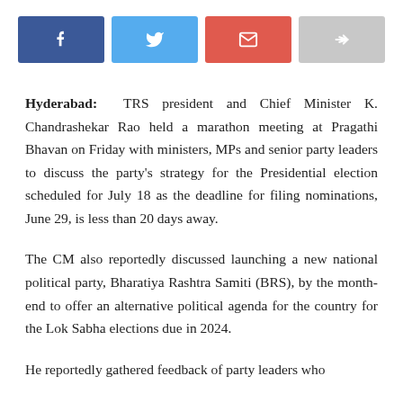[Figure (infographic): Social sharing buttons: Facebook (dark blue), Twitter (light blue), Email (red), Share/forward (grey)]
Hyderabad: TRS president and Chief Minister K. Chandrashekar Rao held a marathon meeting at Pragathi Bhavan on Friday with ministers, MPs and senior party leaders to discuss the party's strategy for the Presidential election scheduled for July 18 as the deadline for filing nominations, June 29, is less than 20 days away.
The CM also reportedly discussed launching a new national political party, Bharatiya Rashtra Samiti (BRS), by the month-end to offer an alternative political agenda for the country for the Lok Sabha elections due in 2024.
He reportedly gathered feedback of party leaders who